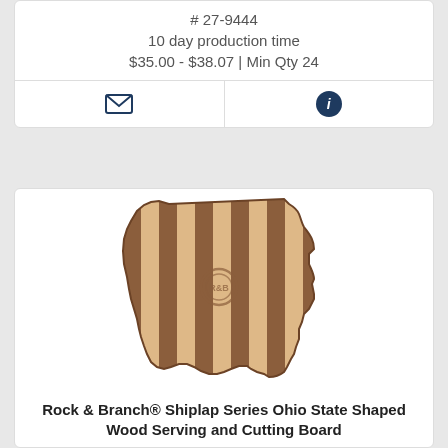# 27-9444
10 day production time
$35.00 - $38.07 | Min Qty 24
[Figure (other): Envelope icon (email contact button)]
[Figure (other): Info circle icon (information button)]
[Figure (photo): Rock & Branch Shiplap Series Ohio State Shaped Wood Serving and Cutting Board product photo — a wood cutting board cut in the shape of Ohio, featuring alternating light maple and dark walnut wood stripes]
Rock & Branch® Shiplap Series Ohio State Shaped Wood Serving and Cutting Board
# 20-2610
10 day production time